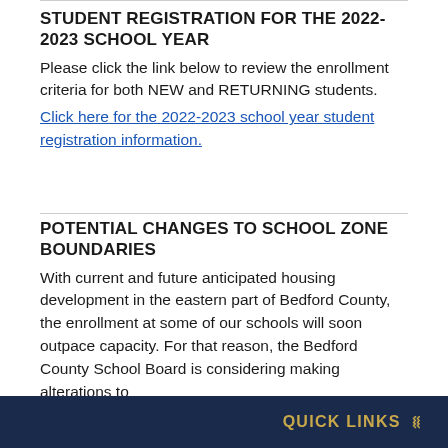STUDENT REGISTRATION FOR THE 2022-2023 SCHOOL YEAR
Please click the link below to review the enrollment criteria for both NEW and RETURNING students.
Click here for the 2022-2023 school year student registration information.
POTENTIAL CHANGES TO SCHOOL ZONE BOUNDARIES
With current and future anticipated housing development in the eastern part of Bedford County, the enrollment at some of our schools will soon outpace capacity. For that reason, the Bedford County School Board is considering making alterations to
QUICK LINKS